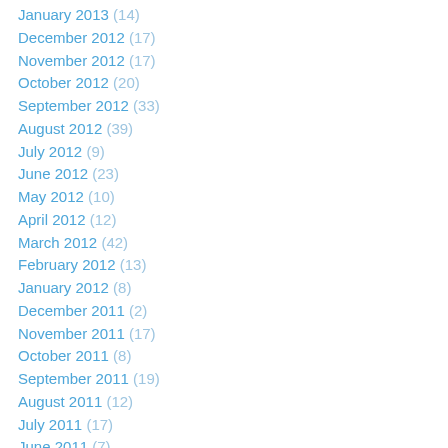January 2013 (14)
December 2012 (17)
November 2012 (17)
October 2012 (20)
September 2012 (33)
August 2012 (39)
July 2012 (9)
June 2012 (23)
May 2012 (10)
April 2012 (12)
March 2012 (42)
February 2012 (13)
January 2012 (8)
December 2011 (2)
November 2011 (17)
October 2011 (8)
September 2011 (19)
August 2011 (12)
July 2011 (17)
June 2011 (7)